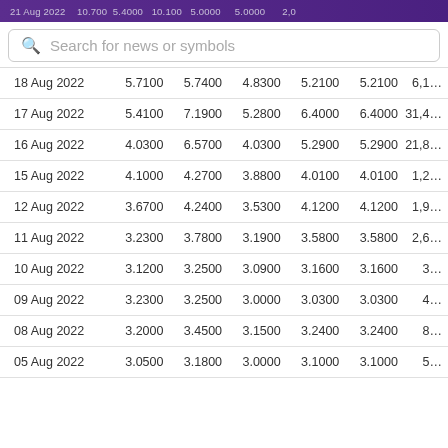21 Aug 2022   10.700   5.4000   10.100   5.0000   5.0000   2,0…
| Date | Open | High | Low | Close | Adj Close | Volume |
| --- | --- | --- | --- | --- | --- | --- |
| 18 Aug 2022 | 5.7100 | 5.7400 | 4.8300 | 5.2100 | 5.2100 | 6,1… |
| 17 Aug 2022 | 5.4100 | 7.1900 | 5.2800 | 6.4000 | 6.4000 | 31,4… |
| 16 Aug 2022 | 4.0300 | 6.5700 | 4.0300 | 5.2900 | 5.2900 | 21,8… |
| 15 Aug 2022 | 4.1000 | 4.2700 | 3.8800 | 4.0100 | 4.0100 | 1,2… |
| 12 Aug 2022 | 3.6700 | 4.2400 | 3.5300 | 4.1200 | 4.1200 | 1,9… |
| 11 Aug 2022 | 3.2300 | 3.7800 | 3.1900 | 3.5800 | 3.5800 | 2,6… |
| 10 Aug 2022 | 3.1200 | 3.2500 | 3.0900 | 3.1600 | 3.1600 | 3… |
| 09 Aug 2022 | 3.2300 | 3.2500 | 3.0000 | 3.0300 | 3.0300 | 4… |
| 08 Aug 2022 | 3.2000 | 3.4500 | 3.1500 | 3.2400 | 3.2400 | 8… |
| 05 Aug 2022 | 3.0500 | 3.1800 | 3.0000 | 3.1000 | 3.1000 | 5… |